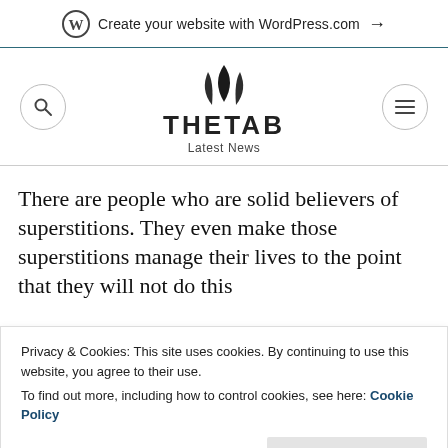Create your website with WordPress.com →
[Figure (logo): TheTab Latest News logo with leaf icon, search button circle and menu button circle]
There are people who are solid believers of superstitions. They even make those superstitions manage their lives to the point that they will not do this
Privacy & Cookies: This site uses cookies. By continuing to use this website, you agree to their use.
To find out more, including how to control cookies, see here: Cookie Policy
Close and accept
baddb. Gamblers also believe in superstitions and certain